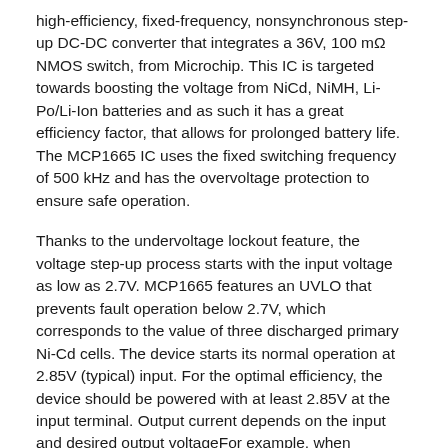high-efficiency, fixed-frequency, nonsynchronous step-up DC-DC converter that integrates a 36V, 100 mΩ NMOS switch, from Microchip. This IC is targeted towards boosting the voltage from NiCd, NiMH, Li-Po/Li-Ion batteries and as such it has a great efficiency factor, that allows for prolonged battery life. The MCP1665 IC uses the fixed switching frequency of 500 kHz and has the overvoltage protection to ensure safe operation.
Thanks to the undervoltage lockout feature, the voltage step-up process starts with the input voltage as low as 2.7V. MCP1665 features an UVLO that prevents fault operation below 2.7V, which corresponds to the value of three discharged primary Ni-Cd cells. The device starts its normal operation at 2.85V (typical) input. For the optimal efficiency, the device should be powered with at least 2.85V at the input terminal. Output current depends on the input and desired output voltageFor example, when powered with 4V at the input, Step Up Click will be able to deliver about 1A @ 12V to the connected load. As with the most step-up regulators, the input voltage should always be less than the voltage at the output to maintain the proper regulation. On the diagram below, the dependence of the maximum output current (Iout)